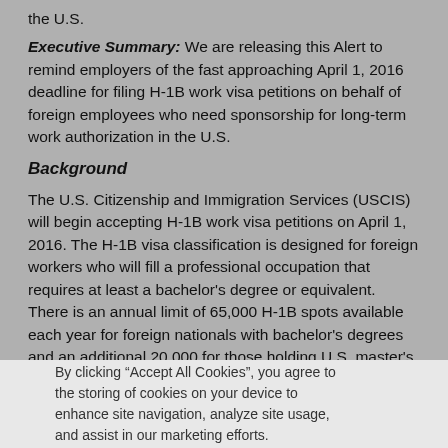the U.S.
Executive Summary: We are releasing this Alert to remind employers of the fast approaching April 1, 2016 deadline for filing H-1B work visa petitions on behalf of foreign employees who need sponsorship for long-term work authorization in the U.S.
Background
The U.S. Citizenship and Immigration Services (USCIS) will begin accepting H-1B work visa petitions on April 1, 2016. The H-1B visa classification is designed for foreign workers who will fill a professional occupation that requires at least a bachelor's degree or equivalent. There is an annual limit of 65,000 H-1B spots available each year for foreign nationals with bachelor's degrees and an additional 20,000 for those holding U.S. master's
By clicking “Accept All Cookies”, you agree to the storing of cookies on your device to enhance site navigation, analyze site usage, and assist in our marketing efforts.